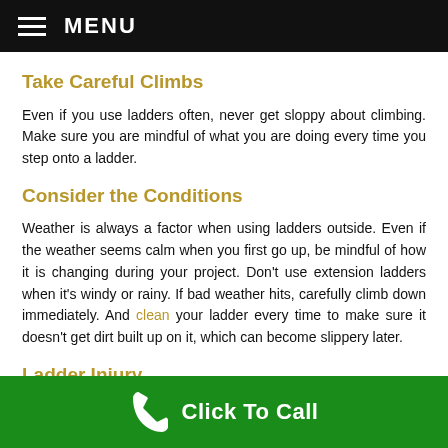MENU
Take Careful Climbs
Even if you use ladders often, never get sloppy about climbing. Make sure you are mindful of what you are doing every time you step onto a ladder.
Consider the Conditions
Weather is always a factor when using ladders outside. Even if the weather seems calm when you first go up, be mindful of how it is changing during your project. Don't use extension ladders when it's windy or rainy. If bad weather hits, carefully climb down immediately. And clean your ladder every time to make sure it doesn't get dirt built up on it, which can become slippery later.
Ladder Injury
Click To Call